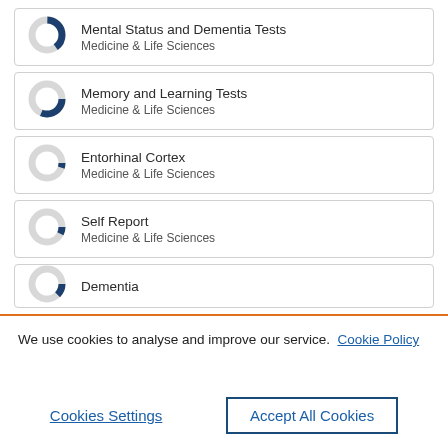[Figure (donut-chart): Donut chart roughly 40% filled in dark blue]
Mental Status and Dementia Tests
Medicine & Life Sciences
[Figure (donut-chart): Donut chart roughly 55% filled in dark blue]
Memory and Learning Tests
Medicine & Life Sciences
[Figure (donut-chart): Donut chart roughly 30% filled in dark blue]
Entorhinal Cortex
Medicine & Life Sciences
[Figure (donut-chart): Donut chart roughly 20% filled in dark blue]
Self Report
Medicine & Life Sciences
[Figure (donut-chart): Donut chart roughly 25% filled in dark blue]
Dementia
We use cookies to analyse and improve our service. Cookie Policy
Cookies Settings
Accept All Cookies